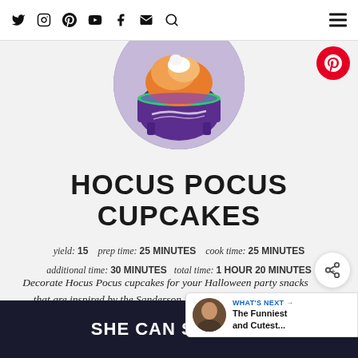Social media icons: Twitter, Instagram, Pinterest, YouTube, Facebook, Mail, Search; Menu hamburger icon
[Figure (photo): Circular cropped photo of a Halloween-themed cupcake with orange frosting in a purple cauldron-shaped cup]
HOCUS POCUS CUPCAKES
yield: 15   prep time: 25 MINUTES   cook time: 25 MINUTES   additional time: 30 MINUTES   total time: 1 HOUR 20 MINUTES
Decorate Hocus Pocus cupcakes for your Halloween party snacks that are inspired by the Sanderson Sisters and their iconic ha
[Figure (infographic): Five gold star rating icons]
[Figure (infographic): WHAT'S NEXT panel with thumbnail photo of a man and text: The Funniest and Cutest...]
SHE CAN STEM